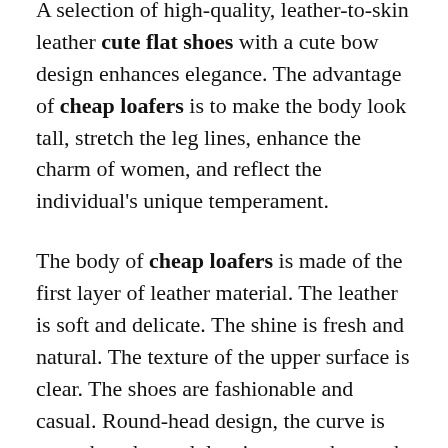A selection of high-quality, leather-to-skin leather cute flat shoes with a cute bow design enhances elegance. The advantage of cheap loafers is to make the body look tall, stretch the leg lines, enhance the charm of women, and reflect the individual's unique temperament.
The body of cheap loafers is made of the first layer of leather material. The leather is soft and delicate. The shine is fresh and natural. The texture of the upper surface is clear. The shoes are fashionable and casual. Round-head design, the curve is smooth and round, leaving enough stretch space for the toes to reduce discomfort and comfort.